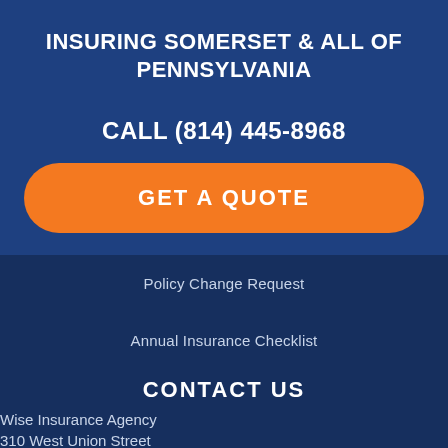INSURING SOMERSET & ALL OF PENNSYLVANIA
CALL (814) 445-8968
GET A QUOTE
Policy Change Request
Annual Insurance Checklist
CONTACT US
Wise Insurance Agency
310 West Union Street